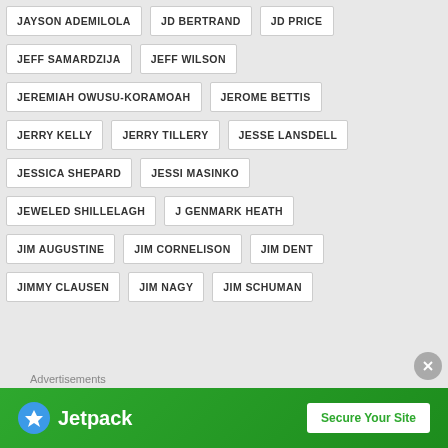JAYSON ADEMILOLA
JD BERTRAND
JD PRICE
JEFF SAMARDZIJA
JEFF WILSON
JEREMIAH OWUSU-KORAMOAH
JEROME BETTIS
JERRY KELLY
JERRY TILLERY
JESSE LANSDELL
JESSICA SHEPARD
JESSI MASINKO
JEWELED SHILLELAGH
J GENMARK HEATH
JIM AUGUSTINE
JIM CORNELISON
JIM DENT
JIMMY CLAUSEN
JIM NAGY
JIM SCHUMAN
Advertisements
[Figure (other): Jetpack advertisement banner with logo and Secure Your Site button]